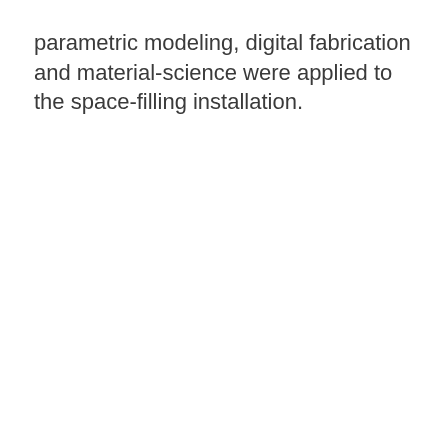parametric modeling, digital fabrication and material-science were applied to the space-filling installation.